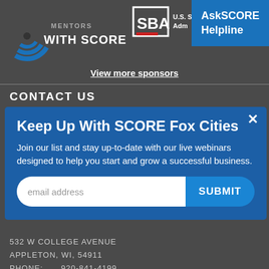[Figure (logo): SCORE mentors with SCORE logo with blue circular wifi/signal graphic on left]
[Figure (logo): U.S. Small Business Administration (SBA) logo with white border box and red underline]
[Figure (other): AskSCORE Helpline blue box in top-right corner]
View more sponsors
CONTACT US
Keep Up With SCORE Fox Cities
Join our list and stay up-to-date with our live webinars designed to help you start and grow a successful business.
email address
SUBMIT
532 W COLLEGE AVENUE
APPLETON, WI, 54911
PHONE:   920-841-4199
TECHNICAL SUPPORT: help@score.org